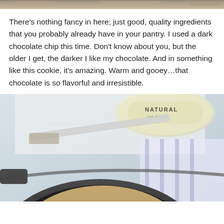[Figure (photo): Partial view of a food image at the top of the page, cropped]
There's nothing fancy in here; just good, quality ingredients that you probably already have in your pantry. I used a dark chocolate chip this time. Don't know about you, but the older I get, the darker I like my chocolate. And in something like this cookie, it's amazing. Warm and gooey…that chocolate is so flavorful and irresistible.
[Figure (photo): Photo of a skillet cookie in a cast iron pan with a spatula and a container of Natural ice cream in the background]